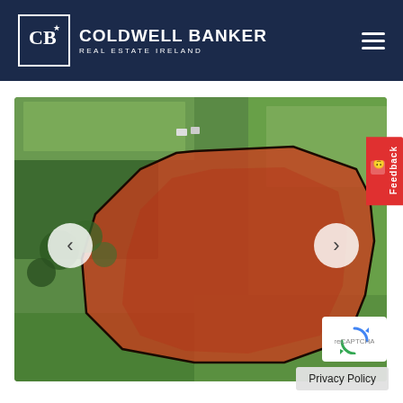Coldwell Banker Real Estate Ireland
[Figure (photo): Aerial drone photograph of a large plot of land highlighted in red/orange overlay, surrounded by green fields, residential houses and trees in Ireland. Navigation arrows visible on left and right sides of the image.]
Feedback
Privacy Policy